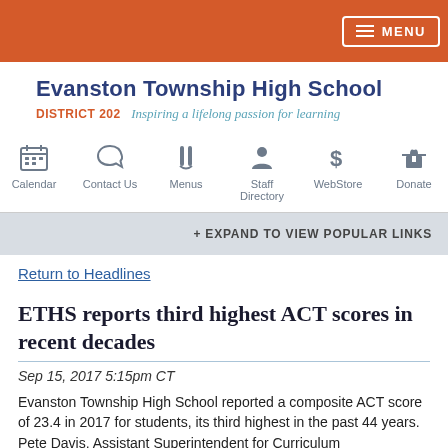MENU
[Figure (logo): Evanston Township High School District 202 logo with tagline 'Inspiring a lifelong passion for learning']
[Figure (infographic): Navigation icons: Calendar, Contact Us, Menus, Staff Directory, WebStore, Donate]
+ EXPAND TO VIEW POPULAR LINKS
Return to Headlines
ETHS reports third highest ACT scores in recent decades
Sep 15, 2017 5:15pm CT
Evanston Township High School reported a composite ACT score of 23.4 in 2017 for students, its third highest in the past 44 years. Pete Davis, Assistant Superintendent for Curriculum